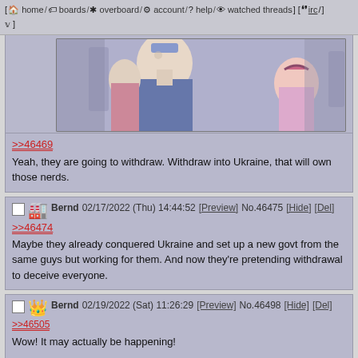[ home / boards / overboard / account / help / watched threads ] [ irc / ]
[Figure (screenshot): Anime screenshot showing characters in a library/shop setting - a tall male character with glasses in blue vest and tie, and a red-haired female character, with other characters in background]
>>46469
Yeah, they are going to withdraw. Withdraw into Ukraine, that will own those nerds.
Bernd 02/17/2022 (Thu) 14:44:52 [Preview] No.46475 [Hide] [Del]
>>46474
Maybe they already conquered Ukraine and set up a new govt from the same guys but working for them. And now they're pretending withdrawal to deceive everyone.
Bernd 02/19/2022 (Sat) 11:26:29 [Preview] No.46498 [Hide] [Del]
>>46505
Wow! It may actually be happening!

The US president said he is certain that it will happen, the Donetsk rebels are issuing evacuation orders and mobilising men of fighting age and apparently some Russian units are